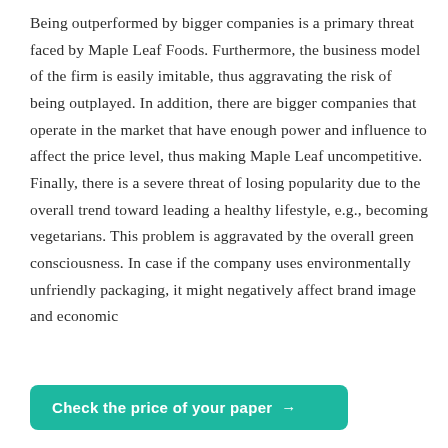Being outperformed by bigger companies is a primary threat faced by Maple Leaf Foods. Furthermore, the business model of the firm is easily imitable, thus aggravating the risk of being outplayed. In addition, there are bigger companies that operate in the market that have enough power and influence to affect the price level, thus making Maple Leaf uncompetitive. Finally, there is a severe threat of losing popularity due to the overall trend toward leading a healthy lifestyle, e.g., becoming vegetarians. This problem is aggravated by the overall green consciousness. In case if the company uses environmentally unfriendly packaging, it might negatively affect brand image and economic
Check the price of your paper →